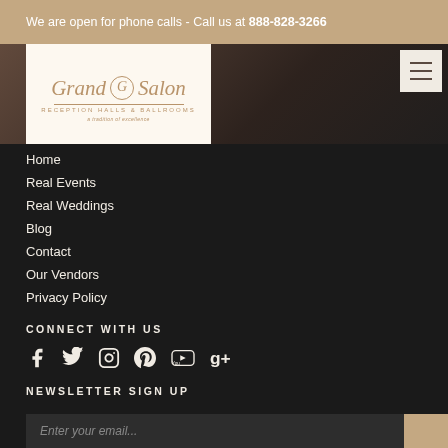We are open for phone calls - Call us at 888-828-3266
[Figure (logo): Grand G Salon Reception Halls & Ballrooms logo on white background]
Home
Real Events
Real Weddings
Blog
Contact
Our Vendors
Privacy Policy
CONNECT WITH US
[Figure (illustration): Social media icons: Facebook, Twitter, Instagram, Pinterest, YouTube, Google+]
NEWSLETTER SIGN UP